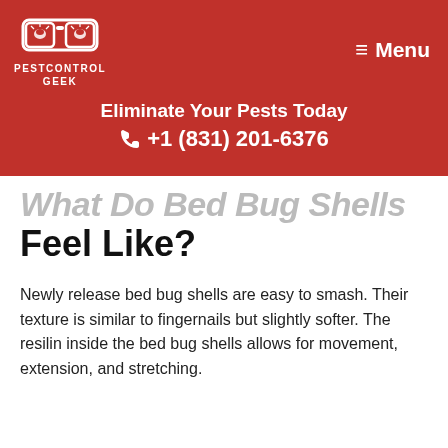[Figure (logo): Pest Control Geek logo with glasses icon and text PESTCONTROL GEEK]
Menu
Eliminate Your Pests Today
☎ +1 (831) 201-6376
What Do Bed Bug Shells Feel Like?
Newly release bed bug shells are easy to smash. Their texture is similar to fingernails but slightly softer. The resilin inside the bed bug shells allows for movement, extension, and stretching.